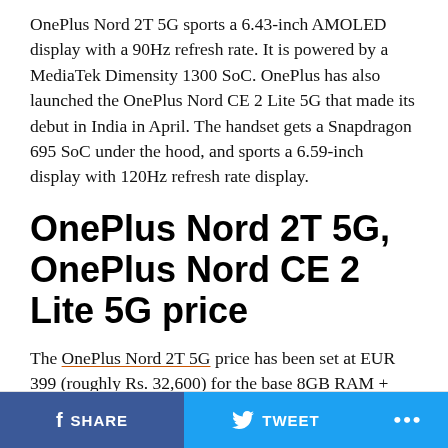OnePlus Nord 2T 5G sports a 6.43-inch AMOLED display with a 90Hz refresh rate. It is powered by a MediaTek Dimensity 1300 SoC. OnePlus has also launched the OnePlus Nord CE 2 Lite 5G that made its debut in India in April. The handset gets a Snapdragon 695 SoC under the hood, and sports a 6.59-inch display with 120Hz refresh rate display.
OnePlus Nord 2T 5G, OnePlus Nord CE 2 Lite 5G price
The OnePlus Nord 2T 5G price has been set at EUR 399 (roughly Rs. 32,600) for the base 8GB RAM + 128GB storage variant. OnePlus has also launched 12GB RAM + 256GB storage variant at a price of EUR 499 (roughly Rs.